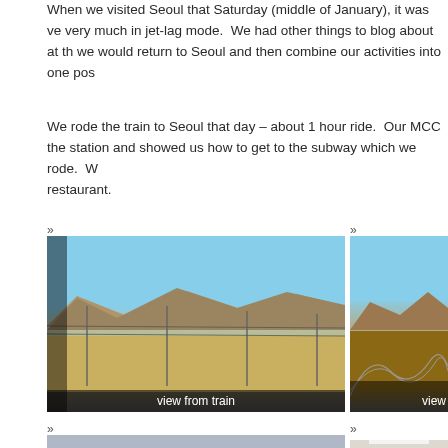When we visited Seoul that Saturday (middle of January), it was very much in jet-lag mode.  We had other things to blog about at the time; we would return to Seoul and then combine our activities into one post.
We rode the train to Seoul that day – about 1 hour ride.  Our MCC contact met us at the station and showed us how to get to the subway which we rode.  We ate at a restaurant.
[Figure (photo): View from train window showing mountains, flat landscape with fields and power lines under blue sky. Caption reads 'view from train'.]
[Figure (photo): Second photo from train, partially visible, showing mountains and structures. Caption reads 'view'.]
[Figure (photo): Third photo, grey sky scene, partially visible.]
[Figure (photo): Fourth photo, interior scene with lighting, partially visible.]